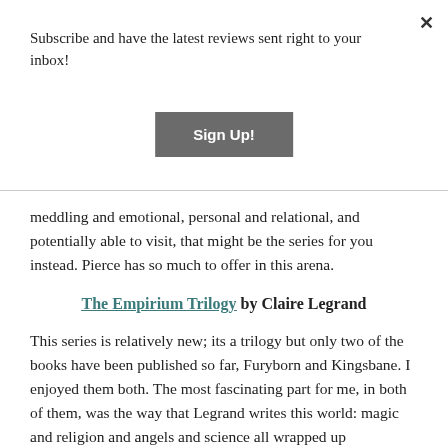Subscribe and have the latest reviews sent right to your inbox!
Sign Up!
meddling and emotional, personal and relational, and potentially able to visit, that might be the series for you instead. Pierce has so much to offer in this arena.
The Empirium Trilogy by Claire Legrand
This series is relatively new; its a trilogy but only two of the books have been published so far, Furyborn and Kingsbane. I enjoyed them both. The most fascinating part for me, in both of them, was the way that Legrand writes this world: magic and religion and angels and science all wrapped up